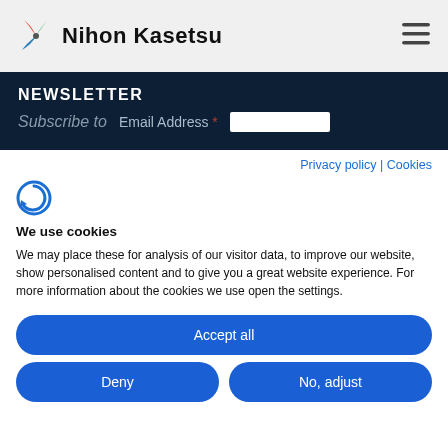Nihon Kasetsu
NEWSLETTER
Subscribe to   Email Address *
Privacy policy | Cookies
[Figure (logo): Cookiebot logo icon - circular arrow symbol in blue]
We use cookies
We may place these for analysis of our visitor data, to improve our website, show personalised content and to give you a great website experience. For more information about the cookies we use open the settings.
Accept all
Deny
No, adjust